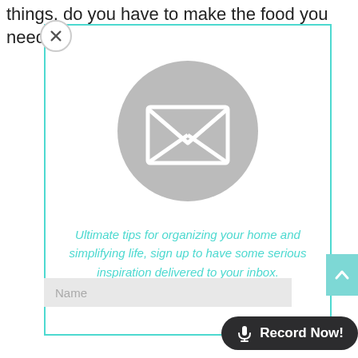things, do you have to make the food you need to
[Figure (screenshot): Modal popup with a teal/cyan border containing an envelope icon inside a gray circle, subscription text in teal italic, and a Name input field]
Ultimate tips for organizing your home and simplifying life, sign up to have some serious inspiration delivered to your inbox.
Name
Record Now!